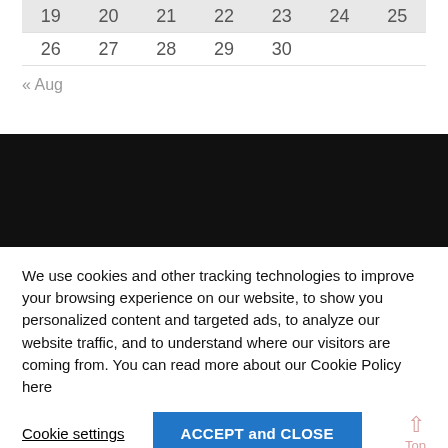| 19 | 20 | 21 | 22 | 23 | 24 | 25 |
| 26 | 27 | 28 | 29 | 30 |  |  |
« Aug
[Figure (other): Black banner/advertisement area]
We use cookies and other tracking technologies to improve your browsing experience on our website, to show you personalized content and targeted ads, to analyze our website traffic, and to understand where our visitors are coming from. You can read more about our Cookie Policy here
Cookie settings
ACCEPT and CLOSE